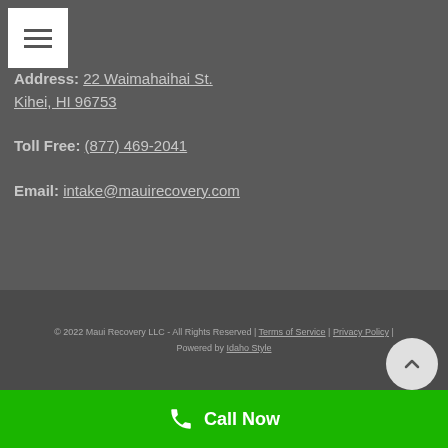Address: 22 Waimahaihai St. Kihei, HI 96753
Toll Free: (877) 469-2041
Email: intake@mauirecovery.com
© 2022 Maui Recovery LLC - All Rights Reserved | Terms of Service | Privacy Policy | Powered by Idaho Style
Call Now